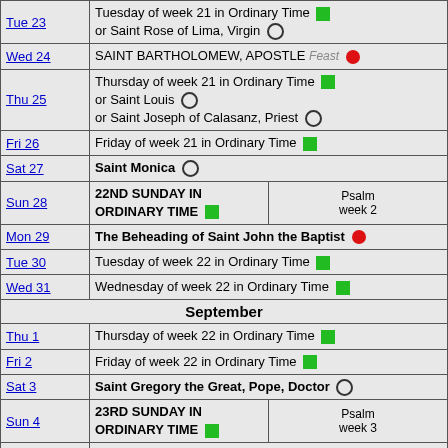| Day | Observance | Note |
| --- | --- | --- |
| Tue 23 | Tuesday of week 21 in Ordinary Time [green] or Saint Rose of Lima, Virgin [circle] |  |
| Wed 24 | SAINT BARTHOLOMEW, APOSTLE Feast [red] |  |
| Thu 25 | Thursday of week 21 in Ordinary Time [green] or Saint Louis [circle] or Saint Joseph of Calasanz, Priest [circle] |  |
| Fri 26 | Friday of week 21 in Ordinary Time [green] |  |
| Sat 27 | Saint Monica [circle] |  |
| Sun 28 | 22ND SUNDAY IN ORDINARY TIME [green] | Psalm week 2 |
| Mon 29 | The Beheading of Saint John the Baptist [red] |  |
| Tue 30 | Tuesday of week 22 in Ordinary Time [green] |  |
| Wed 31 | Wednesday of week 22 in Ordinary Time [green] |  |
| September |  |  |
| Thu 1 | Thursday of week 22 in Ordinary Time [green] |  |
| Fri 2 | Friday of week 22 in Ordinary Time [green] |  |
| Sat 3 | Saint Gregory the Great, Pope, Doctor [circle] |  |
| Sun 4 | 23RD SUNDAY IN ORDINARY TIME [green] | Psalm week 3 |
| Mon 5 | Monday of week 23 in Ordinary Time [green] |  |